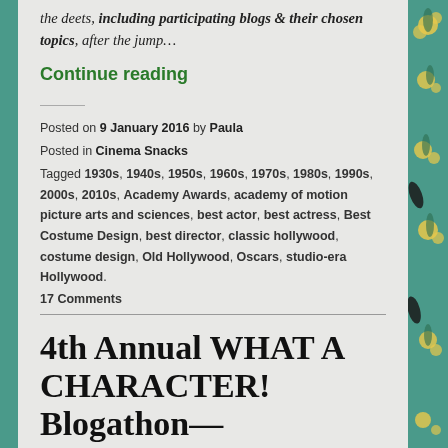the deets, including participating blogs & their chosen topics, after the jump…
Continue reading
Posted on 9 January 2016 by Paula
Posted in Cinema Snacks
Tagged 1930s, 1940s, 1950s, 1960s, 1970s, 1980s, 1990s, 2000s, 2010s, Academy Awards, academy of motion picture arts and sciences, best actor, best actress, Best Costume Design, best director, classic hollywood, costume design, Old Hollywood, Oscars, studio-era Hollywood.
17 Comments
4th Annual WHAT A CHARACTER! Blogathon—